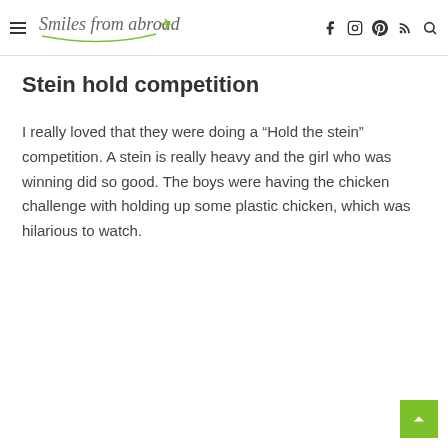Smiles from abroad
Stein hold competition
I really loved that they were doing a “Hold the stein” competition. A stein is really heavy and the girl who was winning did so good. The boys were having the chicken challenge with holding up some plastic chicken, which was hilarious to watch.